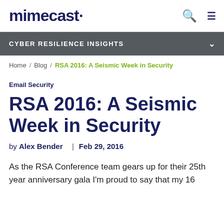mimecast
CYBER RESILIENCE INSIGHTS
Home / Blog / RSA 2016: A Seismic Week in Security
Email Security
RSA 2016: A Seismic Week in Security
by Alex Bender | Feb 29, 2016
As the RSA Conference team gears up for their 25th year anniversary gala I'm proud to say that my 16